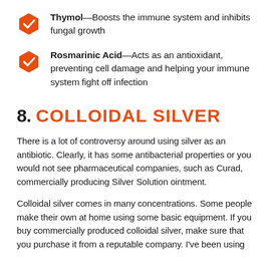Thymol—Boosts the immune system and inhibits fungal growth
Rosmarinic Acid—Acts as an antioxidant, preventing cell damage and helping your immune system fight off infection
8. COLLOIDAL SILVER
There is a lot of controversy around using silver as an antibiotic. Clearly, it has some antibacterial properties or you would not see pharmaceutical companies, such as Curad, commercially producing Silver Solution ointment.
Colloidal silver comes in many concentrations. Some people make their own at home using some basic equipment. If you buy commercially produced colloidal silver, make sure that you purchase it from a reputable company. I've been using